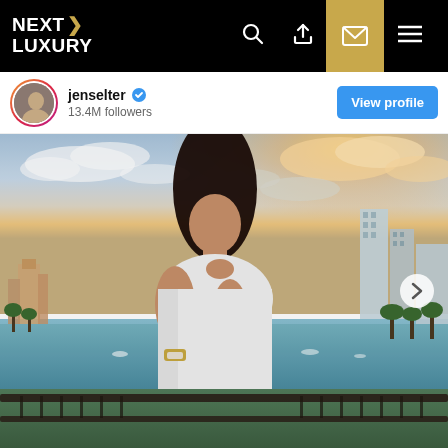[Figure (logo): NEXT LUXURY logo with gold chevron arrow on black navigation bar]
jenselter
13.4M followers
View profile
[Figure (photo): Woman with long dark hair wearing a white t-shirt and a gold watch, posing on a balcony with a panoramic view of a marina and city skyline at sunset. The scene shows water with boats, palm trees, and buildings in the background under a partly cloudy sky with golden sunset light.]